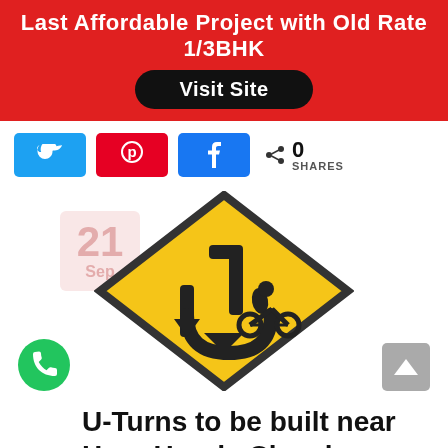[Figure (infographic): Red advertisement banner with white bold text 'Last Affordable Project with Old Rate 1/3BHK' and a black rounded button 'Visit Site']
[Figure (infographic): Social share buttons: Twitter (blue), Pinterest (red), Facebook (blue), and share count showing 0 SHARES]
[Figure (illustration): Yellow diamond road sign with black border showing a U-turn arrow with a motorcyclist icon. A faded calendar badge shows '21 Sep' overlapping the left side.]
U-Turns to be built near Hero Honda Chowk